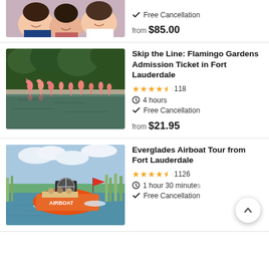[Figure (photo): Partial view of top listing showing smiling women at a beach/outdoor event]
Free Cancellation
from $85.00
[Figure (photo): Flamingo Gardens with flamingos gathered at a water feature surrounded by tropical vegetation]
Skip the Line: Flamingo Gardens Admission Ticket in Fort Lauderdale
4.5 stars, 118 reviews
4 hours
Free Cancellation
from $21.95
[Figure (photo): Everglades airboat tour with an orange airboat speeding through marshland waters]
Everglades Airboat Tour from Fort Lauderdale
4.5 stars, 1126 reviews
1 hour 30 minutes
Free Cancellation